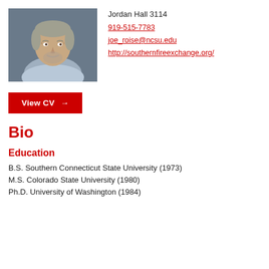[Figure (photo): Headshot of a middle-aged man with gray hair and beard, wearing a light blue collared shirt, against a gray background.]
Jordan Hall 3114
919-515-7783
joe_roise@ncsu.edu
http://southernfireexchange.org/
View CV →
Bio
Education
B.S. Southern Connecticut State University (1973)
M.S. Colorado State University (1980)
Ph.D. University of Washington (1984)